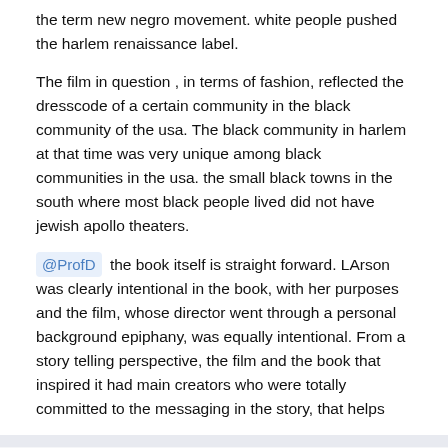the term new negro movement. white people pushed the harlem renaissance label.
The film in question , in terms of fashion, reflected the dresscode of a certain community in the black community of the usa. The black community in harlem at that time was very unique among black communities in the usa. the small black towns in the south where most black people lived did not have jewish apollo theaters.
@ProfD the book itself is straight forward. LArson was clearly intentional in the book, with her purposes and the film, whose director went through a personal background epiphany, was equally intentional. From a story telling perspective, the film and the book that inspired it had main creators who were totally committed to the messaging in the story, that helps
Cynique
Posted January 28